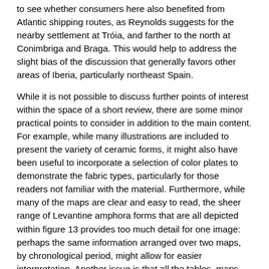to see whether consumers here also benefited from Atlantic shipping routes, as Reynolds suggests for the nearby settlement at Tróia, and farther to the north at Conimbriga and Braga. This would help to address the slight bias of the discussion that generally favors other areas of Iberia, particularly northeast Spain.
While it is not possible to discuss further points of interest within the space of a short review, there are some minor practical points to consider in addition to the main content. For example, while many illustrations are included to present the variety of ceramic forms, it might also have been useful to incorporate a selection of color plates to demonstrate the fabric types, particularly for those readers not familiar with the material. Furthermore, while many of the maps are clear and easy to read, the sheer range of Levantine amphora forms that are all depicted within figure 13 provides too much detail for one image: perhaps the same information arranged over two maps, by chronological period, might allow for easier interpretation. Another issue is that all the tables, maps, and figures are in the second half of the book, resulting in much searching back and forth while reading the main text.